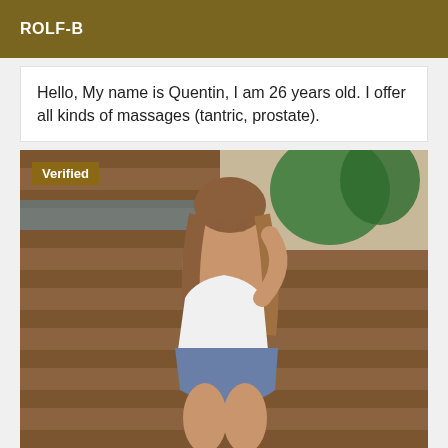ROLF-B
Hello, My name is Quentin, I am 26 years old. I offer all kinds of massages (tantric, prostate).
[Figure (photo): A young woman sitting outdoors near a pool on wooden decking, wearing a white crop top and blue polka dot skirt, with long brown hair. A 'Verified' badge is shown in the top-left corner of the image.]